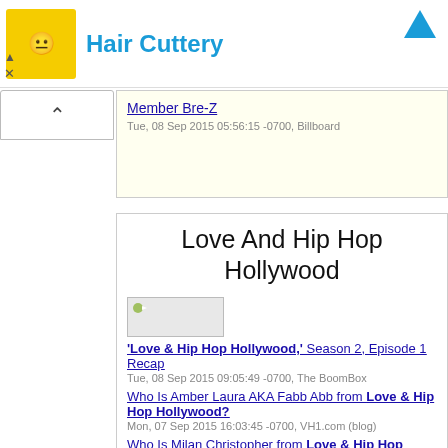[Figure (logo): Hair Cuttery advertisement banner with yellow logo icon and blue text]
Member Bre-Z
Tue, 08 Sep 2015 05:56:15 -0700, Billboard
Love And Hip Hop Hollywood
'Love & Hip Hop Hollywood,' Season 2, Episode 1 Recap
Tue, 08 Sep 2015 09:05:49 -0700, The BoomBox
Who Is Amber Laura AKA Fabb Abb from Love & Hip Hop Hollywood?
Mon, 07 Sep 2015 16:03:45 -0700, VH1.com (blog)
Who Is Milan Christopher from Love & Hip Hop Hollywood?
Mon, 07 Sep 2015 15:52:30 -0700, VH1.com (blog)
Newcomer Amber Throws A Little Shade, Says She's As Real As It Ge...